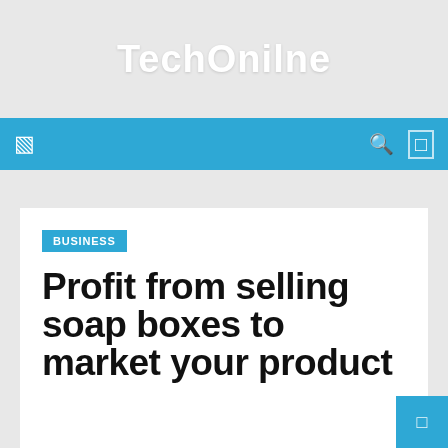TechOnline
navigation bar with menu, search, and user icons
BUSINESS
Profit from selling soap boxes to market your product